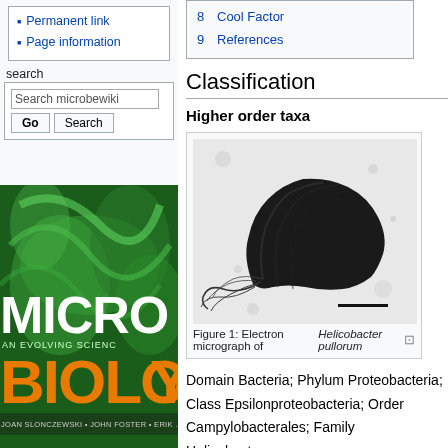Permanent link
Page information
search
[Figure (photo): Cover of Microbiology: An Evolving Science textbook by Joan Slonczewski, John Foster, Erik. Shows green bacteria/microbe imagery with bold yellow/orange text.]
| 8 | Cool Factor |
| 9 | References |
Classification
Higher order taxa
[Figure (photo): Electron micrograph (black and white) of Helicobacter pullorum bacterium, showing a helical/spiral shaped bacterium with scale bar at bottom right.]
Figure 1: Electron micrograph of Helicobacter pullorum
Domain Bacteria; Phylum Proteobacteria; Class Epsilonproteobacteria; Order Campylobacterales; Family Helicobacteraceae